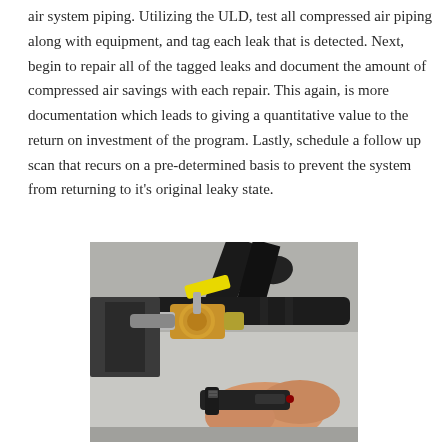air system piping. Utilizing the ULD, test all compressed air piping along with equipment, and tag each leak that is detected. Next, begin to repair all of the tagged leaks and document the amount of compressed air savings with each repair. This again, is more documentation which leads to giving a quantitative value to the return on investment of the program. Lastly, schedule a follow up scan that recurs on a pre-determined basis to prevent the system from returning to it's original leaky state.
[Figure (photo): A person using an ultrasonic leak detector device near a brass ball valve connected to black compressed air piping. The valve has a yellow handle/tag. The scene shows industrial compressed air system components being tested for leaks.]